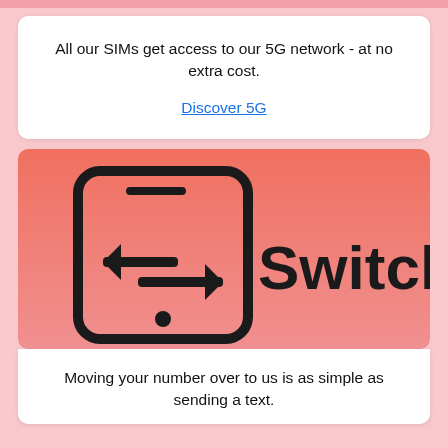All our SIMs get access to our 5G network - at no extra cost.

Discover 5G
[Figure (illustration): Coral/salmon gradient background with a smartphone icon showing two horizontal arrows pointing left and right (switch icon), and the bold text 'Switch' to the right.]
Moving your number over to us is as simple as sending a text.